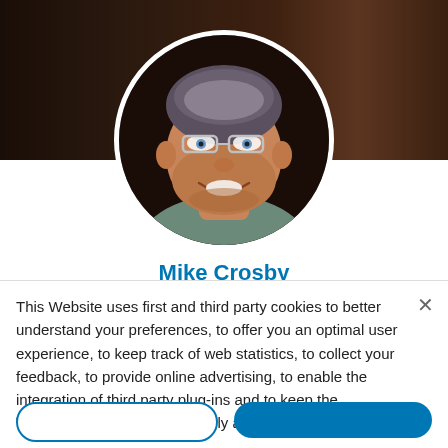[Figure (photo): Profile photo of Mike Crosby — a middle-aged man with grey hair and glasses, smiling, shown in a circular crop with a white border, against a dark banner background.]
Mike Crosby
Executive Director, Industry Analyst, B2B
This Website uses first and third party cookies to better understand your preferences, to offer you an optimal user experience, to keep track of web statistics, to collect your feedback, to provide online advertising, to enable the integration of third party plug-ins and to keep the Websites operating as smoothly as possible.